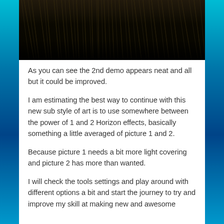[Figure (photo): Dark image at the top of the page showing what appears to be dark fur or feathers with muted brown and black tones]
As you can see the 2nd demo appears neat and all but it could be improved.
I am estimating the best way to continue with this new sub style of art is to use somewhere between the power of 1 and 2 Horizon effects, basically something a little averaged of picture 1 and 2.
Because picture 1 needs a bit more light covering and picture 2 has more than wanted.
I will check the tools settings and play around with different options a bit and start the journey to try and improve my skill at making new and awesome